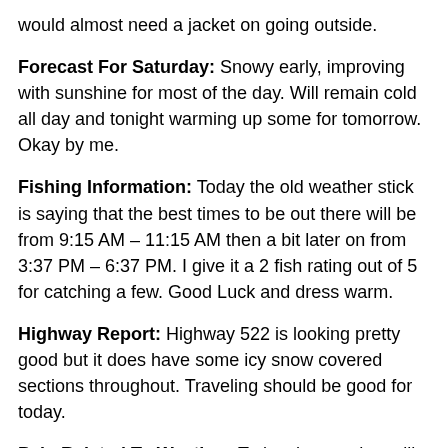would almost need a jacket on going outside.
Forecast For Saturday: Snowy early, improving with sunshine for most of the day.  Will remain cold all day and tonight warming up some for tomorrow.  Okay by me.
Fishing Information: Today the old weather stick is saying that the best times to be out there will be from 9:15 AM – 11:15 AM then a bit later on from 3:37 PM – 6:37 PM.  I give it a 2 fish rating out of 5 for catching a few.  Good Luck and dress warm.
Highway Report:  Highway 522 is looking pretty good but it does have some icy snow covered sections throughout.  Traveling should be good for today.
Pain Related To Weather:  Today the weather will be of help to us humans.  Amazing how things works even in this cold.  Enjoy your day.